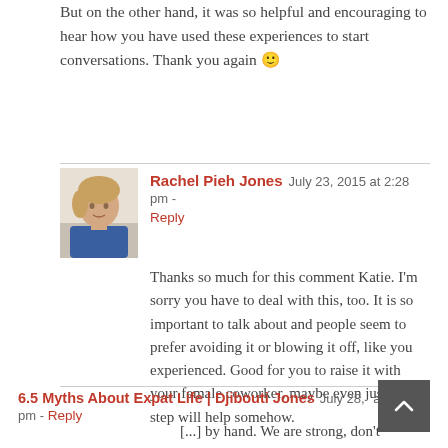But on the other hand, it was so helpful and encouraging to hear how you have used these experiences to start conversations. Thank you again 🙂
Rachel Pieh Jones  July 23, 2015 at 2:28 pm -
Reply

Thanks so much for this comment Katie. I'm sorry you have to deal with this, too. It is so important to talk about and people seem to prefer avoiding it or blowing it off, like you experienced. Good for you to raise it with your female coworker, maybe even just that step will help somehow.
6.5 Myths About Expat Life | Djibouti Jones  July 28, 2015 at 2:45 pm - Reply

[...] by hand. We are strong, don't complain about cold showers or our hair falling out or